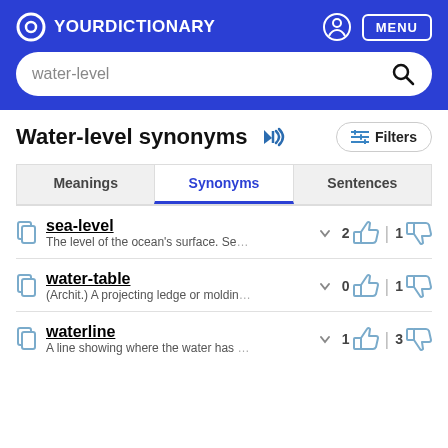YourDictionary
water-level
Water-level synonyms
sea-level – The level of the ocean's surface. Se…  2 thumbs up | 1 thumbs down
water-table – (Archit.) A projecting ledge or moldin…  0 thumbs up | 1 thumbs down
waterline – A line showing where the water has…  1 thumbs up | 3 thumbs down